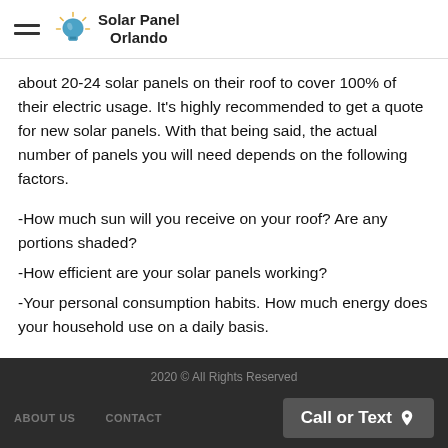Solar Panel Orlando
about 20-24 solar panels on their roof to cover 100% of their electric usage. It's highly recommended to get a quote for new solar panels. With that being said, the actual number of panels you will need depends on the following factors.
-How much sun will you receive on your roof? Are any portions shaded?
-How efficient are your solar panels working?
-Your personal consumption habits. How much energy does your household use on a daily basis.
2020 © All Rights Reserved
ABOUT US    CONTACT    Call or Text